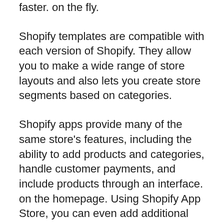faster. on the fly.
Shopify templates are compatible with each version of Shopify. They allow you to make a wide range of store layouts and also lets you create store segments based on categories.
Shopify apps provide many of the same store's features, including the ability to add products and categories, handle customer payments, and include products through an interface. on the homepage. Using Shopify App Store, you can even add additional functionality like Google maps.
Shopify themes are not compatible with all the store's features. These include the ability to create, update, and edit your shop. and